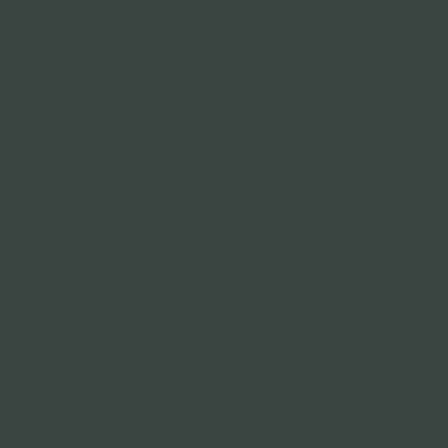March 20, 2022 at 4:…
https://www.ovagame…
[Figure (photo): User avatar placeholder — gray silhouette of a person on gray background]
a
April 17, 2022 at 3:2…
unfortunately we can…
[Figure (photo): User avatar placeholder — gray silhouette of a person on gray background]
MiG…